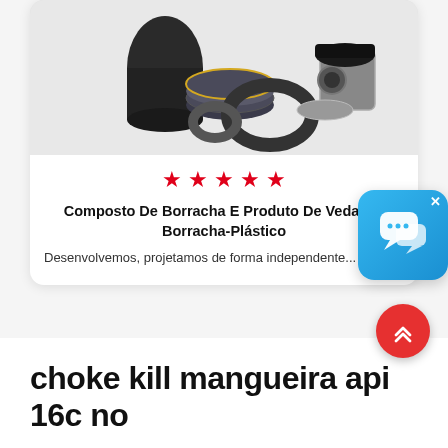[Figure (photo): Photo of rubber compound and sealing products including O-rings, seals, a roll of rubber sheet, and a metal flanged fitting against a white background]
[Figure (other): Five red star rating icons displayed in a row]
Composto De Borracha E Produto De Vedação Borracha-Plástico
Desenvolvemos, projetamos de forma independente...
[Figure (other): Blue chat/messaging app icon with speech bubbles, with an X close button]
[Figure (other): Red circular scroll-to-top button with double chevron up arrow]
choke kill mangueira api 16c no